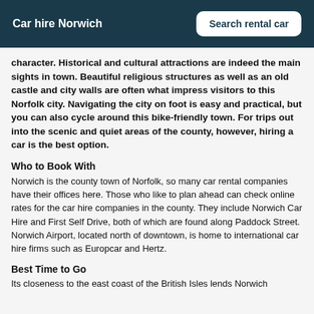Car hire Norwich | Search rental car
character. Historical and cultural attractions are indeed the main sights in town. Beautiful religious structures as well as an old castle and city walls are often what impress visitors to this Norfolk city. Navigating the city on foot is easy and practical, but you can also cycle around this bike-friendly town. For trips out into the scenic and quiet areas of the county, however, hiring a car is the best option.
Who to Book With
Norwich is the county town of Norfolk, so many car rental companies have their offices here. Those who like to plan ahead can check online rates for the car hire companies in the county. They include Norwich Car Hire and First Self Drive, both of which are found along Paddock Street. Norwich Airport, located north of downtown, is home to international car hire firms such as Europcar and Hertz.
Best Time to Go
Its closeness to the east coast of the British Isles lends Norwich